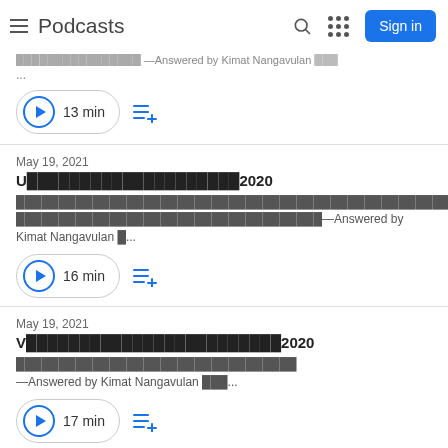Podcasts
... —Answered by Kimat Nangavulan ...
13 min
May 19, 2021
U████████████████████2020
████████████████████████████████████████████████████████████████████████████████████████████—Answered by Kimat Nangavulan █...
16 min
May 19, 2021
V████████████████████████2020
█████████████████████████████████
—Answered by Kimat Nangavulan ███...
17 min